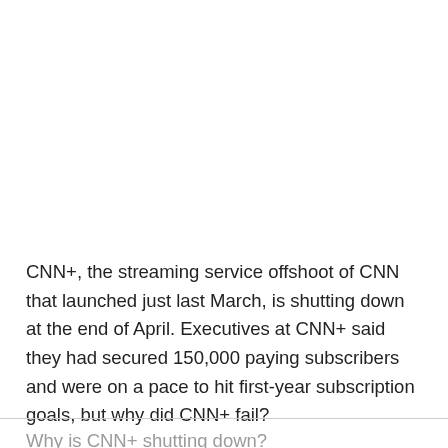CNN+, the streaming service offshoot of CNN that launched just last March, is shutting down at the end of April. Executives at CNN+ said they had secured 150,000 paying subscribers and were on a pace to hit first-year subscription goals, but why did CNN+ fail?
Why is CNN+ shutting down?